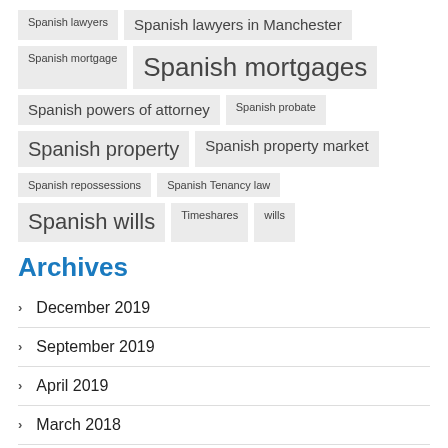Spanish lawyers
Spanish lawyers in Manchester
Spanish mortgage
Spanish mortgages
Spanish powers of attorney
Spanish probate
Spanish property
Spanish property market
Spanish repossessions
Spanish Tenancy law
Spanish wills
Timeshares
wills
Archives
December 2019
September 2019
April 2019
March 2018